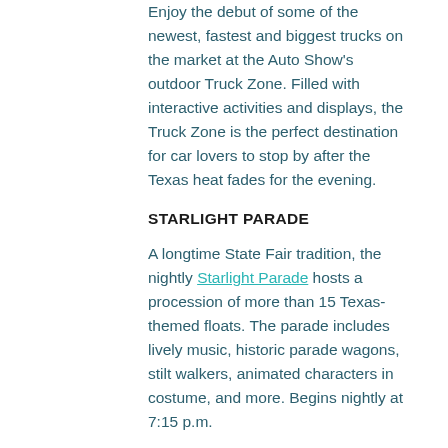Enjoy the debut of some of the newest, fastest and biggest trucks on the market at the Auto Show's outdoor Truck Zone. Filled with interactive activities and displays, the Truck Zone is the perfect destination for car lovers to stop by after the Texas heat fades for the evening.
STARLIGHT PARADE
A longtime State Fair tradition, the nightly Starlight Parade hosts a procession of more than 15 Texas-themed floats. The parade includes lively music, historic parade wagons, stilt walkers, animated characters in costume, and more. Begins nightly at 7:15 p.m.
VISIT THE STATE FAIR WINE GARDEN